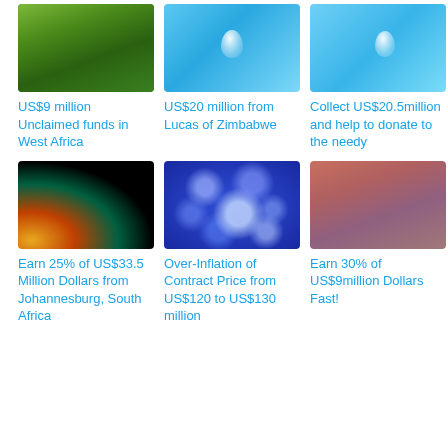[Figure (photo): Green grass with water droplets, macro photo]
US$9 million Unclaimed funds in West Africa
[Figure (photo): Water drop on blue background]
US$20 million from Lucas of Zimbabwe
[Figure (photo): Water drop on blue background, lighter tone]
Collect US$20.5million and help to donate to the needy
[Figure (photo): Dark background with colorful glow in corner, orange/red/green gradient]
Earn 25% of US$33.5 Million Dollars from Johannesburg, South Africa
[Figure (photo): Blue background with glowing bubble circles]
Over-Inflation of Contract Price from US$120 to US$130 million
[Figure (photo): Pink-brown gradient blurred background]
Earn 30% of US$9million Dollars Fast!